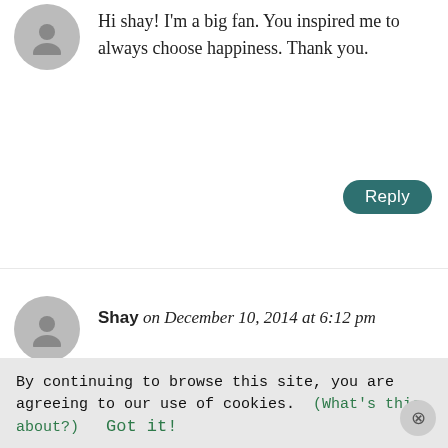Hi shay! I'm a big fan. You inspired me to always choose happiness. Thank you.
Reply
Shay on December 10, 2014 at 6:12 pm
Just say hamburger when you feel emotional! My beautiful wife sang it go check it out on our video “shaytards” is our YouTube name
The video is called “the most beautiful story that's ever been told” hamburger!
Reply
By continuing to browse this site, you are agreeing to our use of cookies. (What's this about?) Got it!